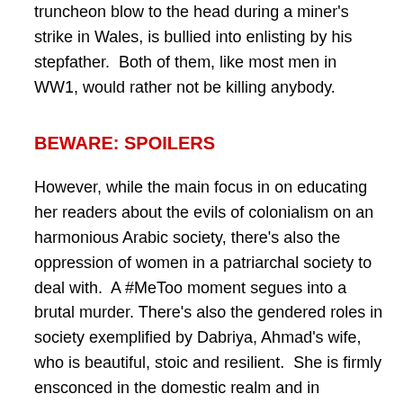truncheon blow to the head during a miner's strike in Wales, is bullied into enlisting by his stepfather.  Both of them, like most men in WW1, would rather not be killing anybody.
BEWARE: SPOILERS
However, while the main focus in on educating her readers about the evils of colonialism on an harmonious Arabic society, there's also the oppression of women in a patriarchal society to deal with.  A #MeToo moment segues into a brutal murder. There's also the gendered roles in society exemplified by Dabriya, Ahmad's wife, who is beautiful, stoic and resilient.  She is firmly ensconced in the domestic realm and in Ahmad's nostalgic memories (which are occasionally coyly lustful).  But when her son is at risk she leaps onto horse despite the disapproval of